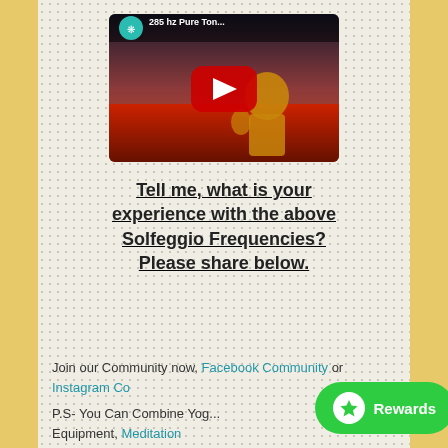[Figure (screenshot): YouTube video thumbnail showing '285 hz Pure Ton...' with a golden Buddha statue and red field background, with a large red play button in the center and a teal circular channel logo in the top left.]
Tell me, what is your experience with the above Solfeggio Frequencies? Please share below.
Join our Community now, Facebook Community or Instagram Co...
P.S- You Can Combine Yog... Equipment, Meditation